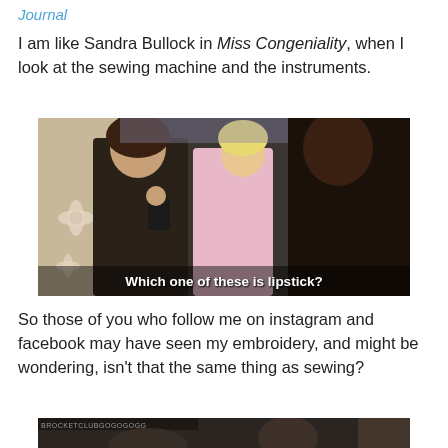Journal
I am like Sandra Bullock in Miss Congeniality, when I look at the sewing machine and the instruments.
[Figure (screenshot): Movie still from a film showing three women in what appears to be a store or dressing room. Subtitle text reads: Which one of these is lipstick?]
So those of you who follow me on instagram and facebook may have seen my embroidery, and might be wondering, isn't that the same thing as sewing?
[Figure (screenshot): Partial movie still, beginning of another image at the bottom of the page, showing a dark scene with a watermark/attribution text.]